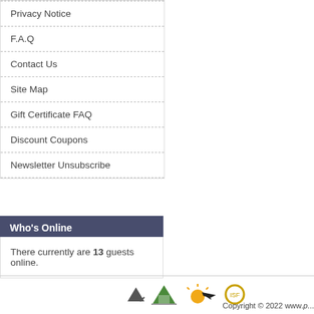Privacy Notice
F.A.Q
Contact Us
Site Map
Gift Certificate FAQ
Discount Coupons
Newsletter Unsubscribe
Who's Online
There currently are 13 guests online.
[Figure (logo): Partial logos visible in footer area including a green mountain logo, a sun/airplane logo, and a partially visible circular logo]
Copyright © 2022 www.p...